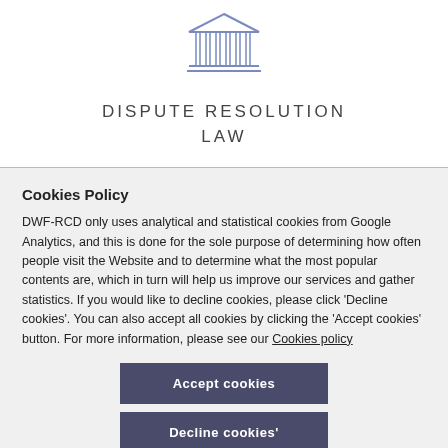[Figure (illustration): Blue/grey line-art icon of a classical building with columns and a triangular pediment, representing a courthouse or legal institution]
DISPUTE RESOLUTION LAW
Cookies Policy
DWF-RCD only uses analytical and statistical cookies from Google Analytics, and this is done for the sole purpose of determining how often people visit the Website and to determine what the most popular contents are, which in turn will help us improve our services and gather statistics. If you would like to decline cookies, please click 'Decline cookies'. You can also accept all cookies by clicking the 'Accept cookies' button. For more information, please see our Cookies policy
Accept cookies
Decline cookies'